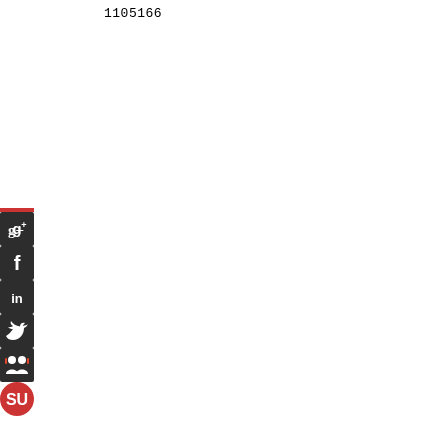1105166
[Figure (other): Social media sharing buttons sidebar: Google+, Facebook, LinkedIn, Twitter, SlideShare, StumbleUpon icons on dark/red rounded rectangle buttons]